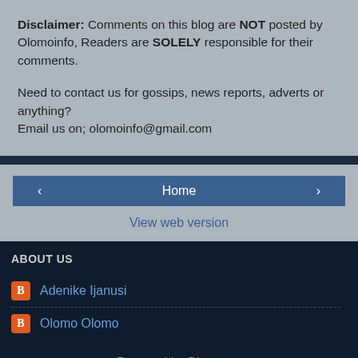Disclaimer: Comments on this blog are NOT posted by Olomoinfo, Readers are SOLELY responsible for their comments.
Need to contact us for gossips, news reports, adverts or anything?
Email us on; olomoinfo@gmail.com
Home
View web version
ABOUT US
Adenike Ijanusi
Olomo Olomo
Powered by Blogger.